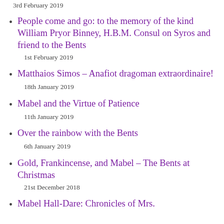3rd February 2019
People come and go: to the memory of the kind William Pryor Binney, H.B.M. Consul on Syros and friend to the Bents
1st February 2019
Matthaios Simos – Anafiot dragoman extraordinaire!
18th January 2019
Mabel and the Virtue of Patience
11th January 2019
Over the rainbow with the Bents
6th January 2019
Gold, Frankincense, and Mabel – The Bents at Christmas
21st December 2018
Mabel Hall-Dare: Chronicles of Mrs.